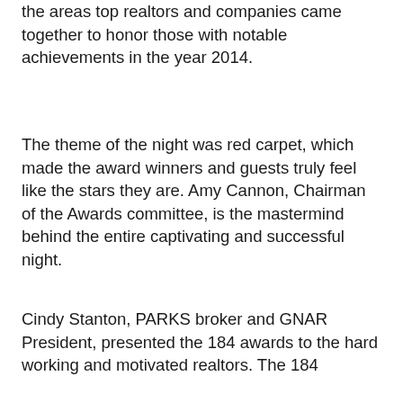the areas top realtors and companies came together to honor those with notable achievements in the year 2014.
The theme of the night was red carpet, which made the award winners and guests truly feel like the stars they are. Amy Cannon, Chairman of the Awards committee, is the mastermind behind the entire captivating and successful night.
Cindy Stanton, PARKS broker and GNAR President, presented the 184 awards to the hard working and motivated realtors. The 184